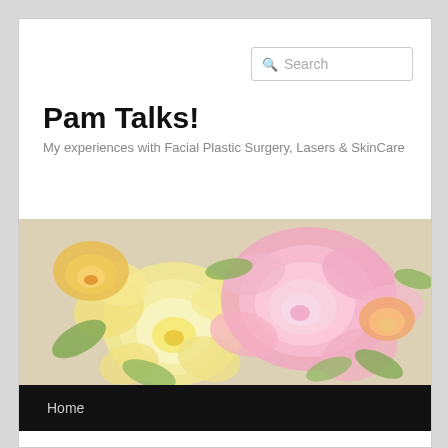Search
Pam Talks!
My experiences with Facial Plastic Surgery, Lasers & SkinCare
[Figure (photo): Floral banner image with pink, yellow, and white roses on a light background]
Home
CATEGORY ARCHIVES: QUICKLIFT